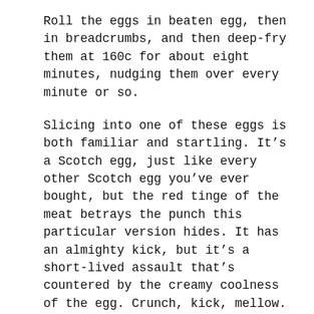Roll the eggs in beaten egg, then in breadcrumbs, and then deep-fry them at 160c for about eight minutes, nudging them over every minute or so.
Slicing into one of these eggs is both familiar and startling. It’s a Scotch egg, just like every other Scotch egg you’ve ever bought, but the red tinge of the meat betrays the punch this particular version hides. It has an almighty kick, but it’s a short-lived assault that’s countered by the creamy coolness of the egg. Crunch, kick, mellow.